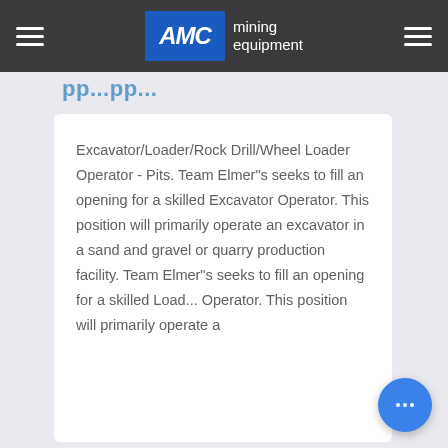AMC mining equipment
pp...pp...
Excavator/Loader/Rock Drill/Wheel Loader Operator - Pits. Team Elmer"s seeks to fill an opening for a skilled Excavator Operator. This position will primarily operate an excavator in a sand and gravel or quarry production facility. Team Elmer"s seeks to fill an opening for a skilled Load... Operator. This position will primarily operate a